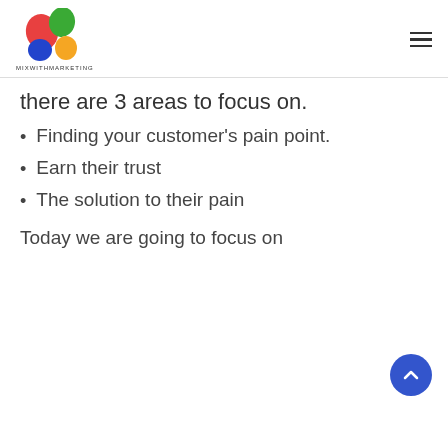MixWithMarketing logo and hamburger menu
there are 3 areas to focus on.
Finding your customer's pain point.
Earn their trust
The solution to their pain
Today we are going to focus on